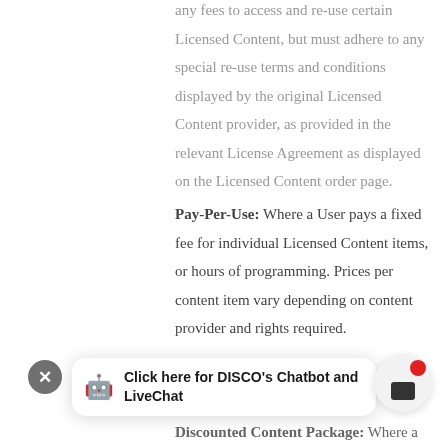any fees to access and re-use certain Licensed Content, but must adhere to any special re-use terms and conditions displayed by the original Licensed Content provider, as provided in the relevant License Agreement as displayed on the Licensed Content order page.
Pay-Per-Use: Where a User pays a fixed fee for individual Licensed Content items, or hours of programming. Prices per content item vary depending on content provider and rights required.
a
[Figure (other): DISCO chatbot LiveChat widget overlay with close button (X), robot emoji icon, text 'Click here for DISCO's Chatbot and LiveChat', and a chat action button with red notification dot]
Discounted Content Package: Where a